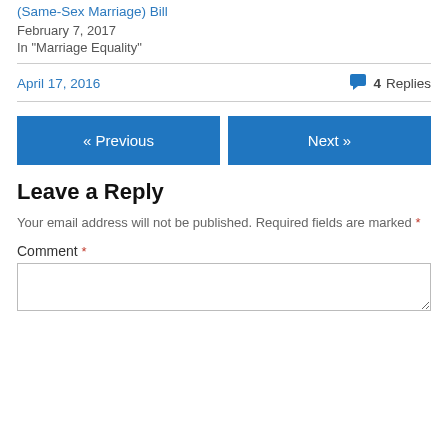(Same-Sex Marriage) Bill
February 7, 2017
In "Marriage Equality"
April 17, 2016
4 Replies
« Previous
Next »
Leave a Reply
Your email address will not be published. Required fields are marked *
Comment *